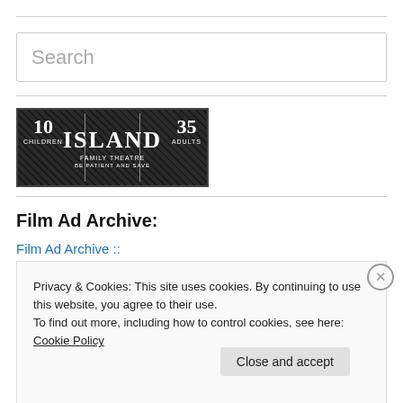Search
[Figure (logo): Island Family Theatre vintage cinema advertisement. Shows '10 Children' on left, 'ISLAND FAMILY THEATRE' in center, '35 Adults' on right, with tagline 'BE PATIENT AND SAVE']
Film Ad Archive:
Film Ad Archive ::
Privacy & Cookies: This site uses cookies. By continuing to use this website, you agree to their use.
To find out more, including how to control cookies, see here: Cookie Policy